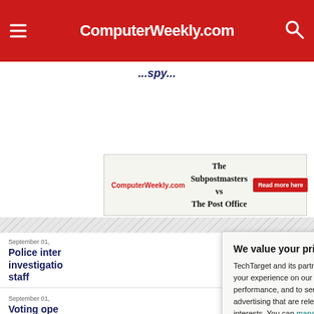ComputerWeekly.com
...spy...
[Figure (screenshot): ComputerWeekly.com advertisement banner: 'The Subpostmasters vs The Post Office' with a red 'Read more here' button]
September 01,
Police inter...
investigatio...
staff
September 01,
Voting ope...
Influential W...
September 01,
Space nerc...
used to sp...
We value your privacy.
TechTarget and its partners employ cookies to improve your experience on our site, to analyze traffic and performance, and to serve personalized content and advertising that are relevant to your professional interests. You can manage your settings at any time. Please view our Privacy Policy for more information